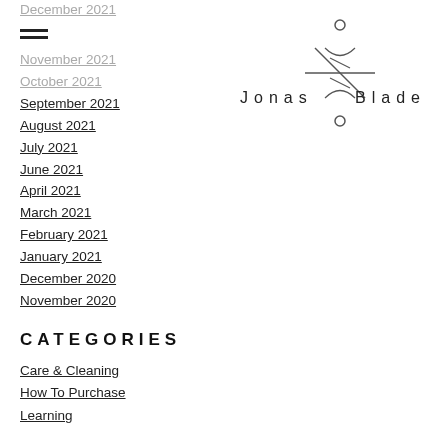[Figure (logo): Jonas Blade logo with stylized compass/knife graphic and text 'Jonas Blade']
December 2021
November 2021
October 2021
September 2021
August 2021
July 2021
June 2021
April 2021
March 2021
February 2021
January 2021
December 2020
November 2020
CATEGORIES
Care & Cleaning
How To Purchase
Learning